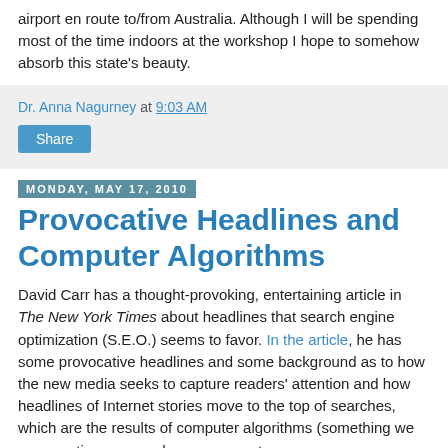airport en route to/from Australia. Although I will be spending most of the time indoors at the workshop I hope to somehow absorb this state's beauty.
Dr. Anna Nagurney at 9:03 AM
Share
Monday, May 17, 2010
Provocative Headlines and Computer Algorithms
David Carr has a thought-provoking, entertaining article in The New York Times about headlines that search engine optimization (S.E.O.) seems to favor. In the article, he has some provocative headlines and some background as to how the new media seeks to capture readers' attention and how headlines of Internet stories move to the top of searches, which are the results of computer algorithms (something we as operations researchers or computer